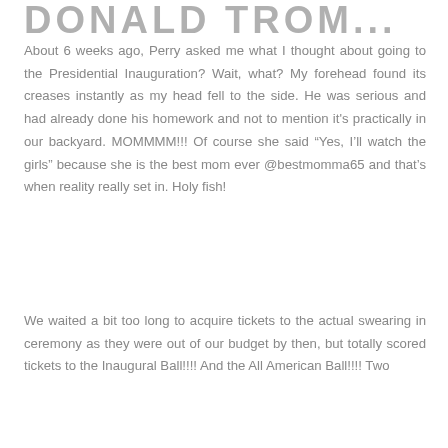DONALD TROM...
About 6 weeks ago, Perry asked me what I thought about going to the Presidential Inauguration? Wait, what? My forehead found its creases instantly as my head fell to the side. He was serious and had already done his homework and not to mention it's practically in our backyard. MOMMMM!!! Of course she said “Yes, I’ll watch the girls” because she is the best mom ever @bestmomma65 and that’s when reality really set in. Holy fish!
We waited a bit too long to acquire tickets to the actual swearing in ceremony as they were out of our budget by then, but totally scored tickets to the Inaugural Ball!!!! And the All American Ball!!!! Two